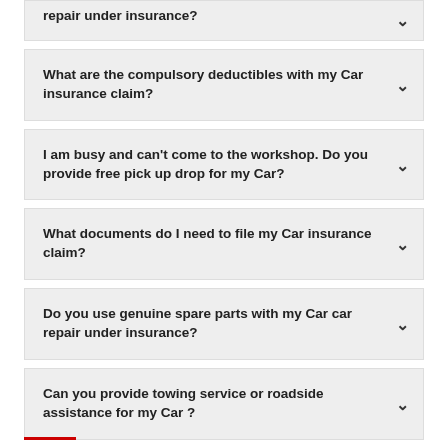repair under insurance?
What are the compulsory deductibles with my Car insurance claim?
I am busy and can't come to the workshop. Do you provide free pick up drop for my Car?
What documents do I need to file my Car insurance claim?
Do you use genuine spare parts with my Car car repair under insurance?
Can you provide towing service or roadside assistance for my Car ?